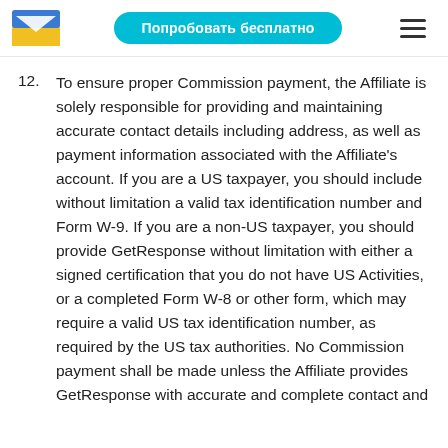Попробовать бесплатно
12. To ensure proper Commission payment, the Affiliate is solely responsible for providing and maintaining accurate contact details including address, as well as payment information associated with the Affiliate's account. If you are a US taxpayer, you should include without limitation a valid tax identification number and Form W-9. If you are a non-US taxpayer, you should provide GetResponse without limitation with either a signed certification that you do not have US Activities, or a completed Form W-8 or other form, which may require a valid US tax identification number, as required by the US tax authorities. No Commission payment shall be made unless the Affiliate provides GetResponse with accurate and complete contact and